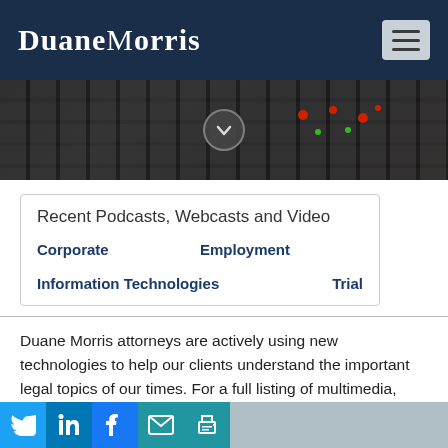Duane Morris
[Figure (photo): Dark keyboard/mixer equipment close-up with a down-arrow button overlay]
Recent Podcasts, Webcasts and Video
Corporate
Employment
Information Technologies
Trial
Duane Morris attorneys are actively using new technologies to help our clients understand the important legal topics of our times. For a full listing of multimedia, please visit the links in the tabs at
Social share icons: Twitter, LinkedIn, Facebook, Email, Print